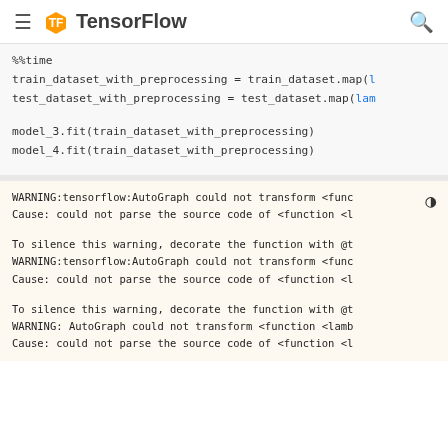TensorFlow
%%time
train_dataset_with_preprocessing = train_dataset.map(l
test_dataset_with_preprocessing = test_dataset.map(lam

model_3.fit(train_dataset_with_preprocessing)
model_4.fit(train_dataset_with_preprocessing)
WARNING:tensorflow:AutoGraph could not transform <func
Cause: could not parse the source code of <function <l

To silence this warning, decorate the function with @t
WARNING:tensorflow:AutoGraph could not transform <func
Cause: could not parse the source code of <function <l

To silence this warning, decorate the function with @t
WARNING: AutoGraph could not transform <function <lamb
Cause: could not parse the source code of <function <l